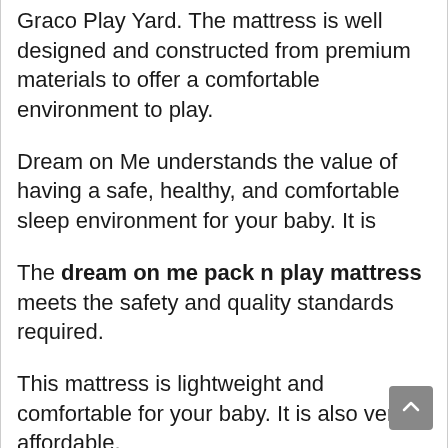Graco Play Yard. The mattress is well designed and constructed from premium materials to offer a comfortable environment to play.
Dream on Me understands the value of having a safe, healthy, and comfortable sleep environment for your baby. It is
The dream on me pack n play mattress meets the safety and quality standards required.
This mattress is lightweight and comfortable for your baby. It is also very affordable.